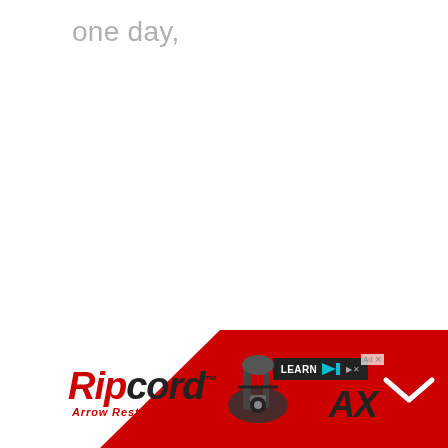one day,
[Figure (advertisement): Ripcord Arrow Rest advertisement banner at the bottom of the page. Shows the Ripcord logo in red italic font, an arrow rest product image, MAX text, a LEARN MORE button, and a red geometric background with a red corner block top-right.]